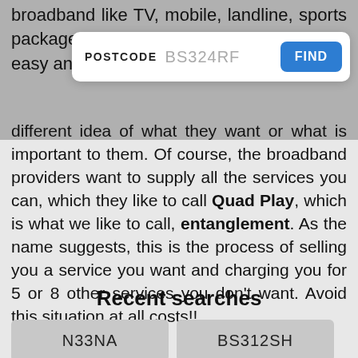broadband like TV, mobile, landline, sports package, Sky Atl[...] o easy answer [...] has a different idea of what they want or what is important to them. Of course, the broadband providers want to supply all the services you can, which they like to call Quad Play, which is what we like to call, entanglement. As the name suggests, this is the process of selling you a service you want and charging you for 5 or 8 other services you don't want. Avoid this situation at all costs!!
[Figure (screenshot): Postcode search bar overlay showing label 'POSTCODE', placeholder text 'BS324RF', and a blue 'FIND' button]
Recent searches
| N33NA | BS312SH |
| LN44ZU | BS312NF |
| YO317UR | OL16AYA |